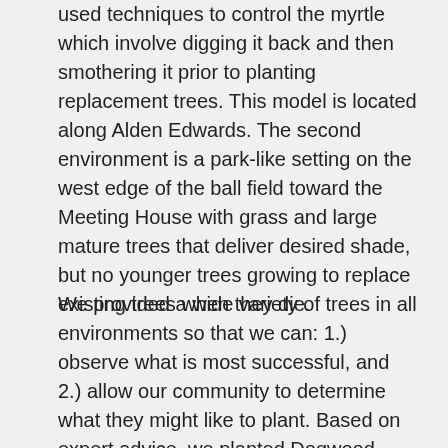used techniques to control the myrtle which involve digging it back and then smothering it prior to planting replacement trees. This model is located along Alden Edwards. The second environment is a park-like setting on the west edge of the ball field toward the Meeting House with grass and large mature trees that deliver desired shade, but no younger trees growing to replace existing trees when they die.
We provided a wide variety of trees in all environments so that we can: 1.) observe what is most successful, and 2.) allow our community to determine what they might like to plant. Based on expert advice, we planted Dogwood, White Cedar, Hop Hornbeam (Ironwood), Witch Hazel, Paw Paw, Bladdernut, White Pine, Blue Beech (Musclewood), Swamp White Oak, Hackberry, Tulip Poplar, Burr Oak, Red Oak and Pin Oak. Large container